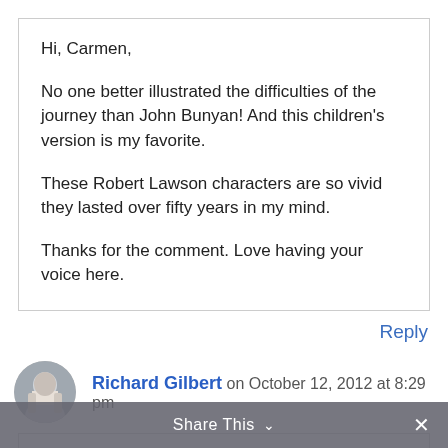Hi, Carmen,

No one better illustrated the difficulties of the journey than John Bunyan! And this children's version is my favorite.

These Robert Lawson characters are so vivid they lasted over fifty years in my mind.

Thanks for the comment. Love having your voice here.
Reply
Richard Gilbert on October 12, 2012 at 8:29 pm
What a profound, wonderful, spiritual essay, Shirley. I love:
Share This